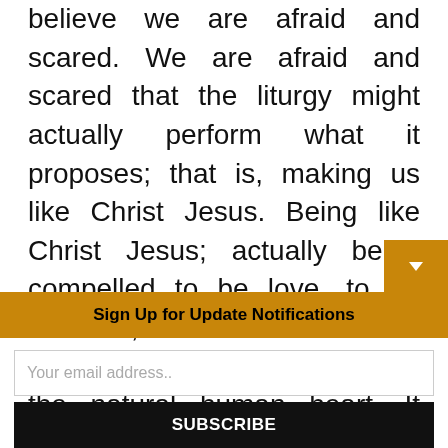believe we are afraid and scared. We are afraid and scared that the liturgy might actually perform what it proposes; that is, making us like Christ Jesus. Being like Christ Jesus; actually being compelled to be love, to be sacrifice, and to be a Eucharistic People is scary to the natural human heart. It sounds like a hard life. So hard that it sounds much easier to just kill Christ Jesus by conforming Him to the world. Far easier it is to be an assass
Sign Up for Update Notifications
Your email address..
SUBSCRIBE